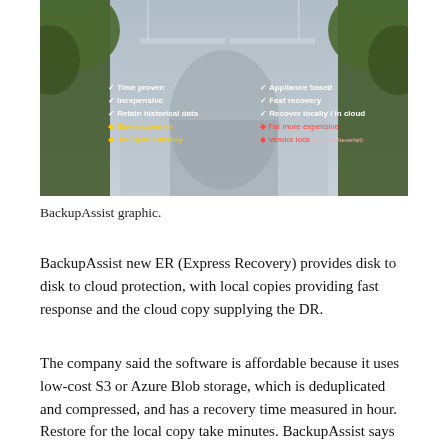[Figure (screenshot): BackupAssist graphic showing a comparison image with two columns of bullet points overlaid on a misty architectural background. Left column (white checkmarks): Time proven, Inexpensive, Retain historical data, Slow recoveries, Boring and unsexy. Right column (with colored bullets): Appliance based, Fast recovery, Recover locally / in cloud, Far more expensive, Vendor lock (e.g. see Neverfail).]
BackupAssist graphic.
BackupAssist new ER (Express Recovery) provides disk to disk to cloud protection, with local copies providing fast response and the cloud copy supplying the DR.
The company said the software is affordable because it uses low-cost S3 or Azure Blob storage, which is deduplicated and compressed, and has a recovery time measured in hour. Restore for the local copy take minutes. BackupAssist says the cloud recovery time is acceptable because disasters are rare, unlike local restores which can happen often. Backup data is